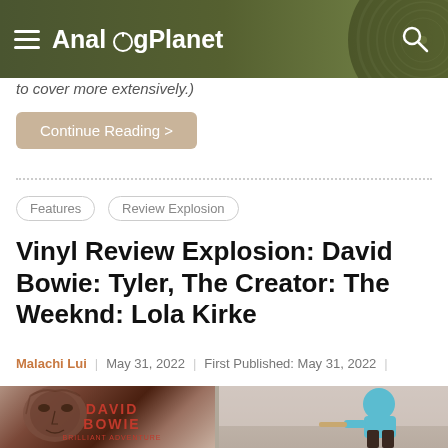AnalogPlanet
to cover more extensively.)
Continue Reading >
Features
Review Explosion
Vinyl Review Explosion: David Bowie: Tyler, The Creator: The Weeknd: Lola Kirke
Malachi Lui | May 31, 2022 | First Published: May 31, 2022 |
[Figure (photo): Album covers for the vinyl review explosion article showing David Bowie and Tyler The Creator album art]